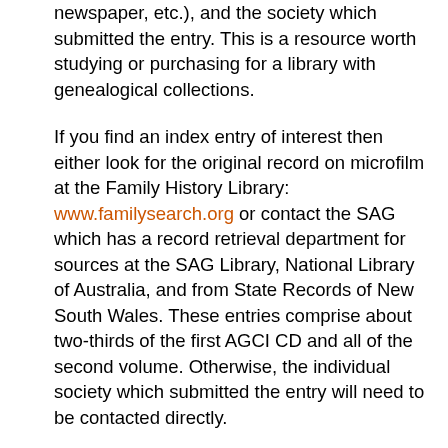newspaper, etc.), and the society which submitted the entry. This is a resource worth studying or purchasing for a library with genealogical collections.
If you find an index entry of interest then either look for the original record on microfilm at the Family History Library: www.familysearch.org or contact the SAG which has a record retrieval department for sources at the SAG Library, National Library of Australia, and from State Records of New South Wales. These entries comprise about two-thirds of the first AGCI CD and all of the second volume. Otherwise, the individual society which submitted the entry will need to be contacted directly.